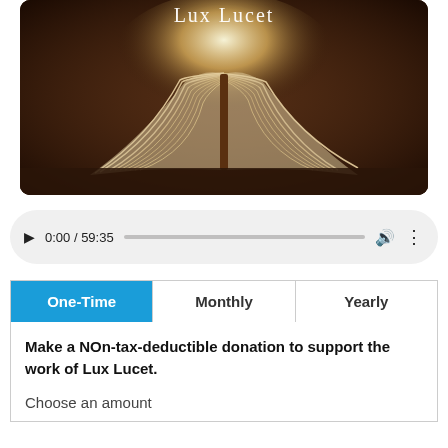[Figure (photo): Open book with glowing light emanating from its pages, placed on a dark wooden surface. Text 'Lux Lucet' appears at the top in white serif font.]
[Figure (screenshot): Audio player control bar showing play button, time 0:00 / 59:35, a progress bar, volume icon, and more options button.]
| One-Time | Monthly | Yearly |
| --- | --- | --- |
| Make a NOn-tax-deductible donation to support the work of Lux Lucet.

Choose an amount |  |  |
Make a NOn-tax-deductible donation to support the work of Lux Lucet.
Choose an amount